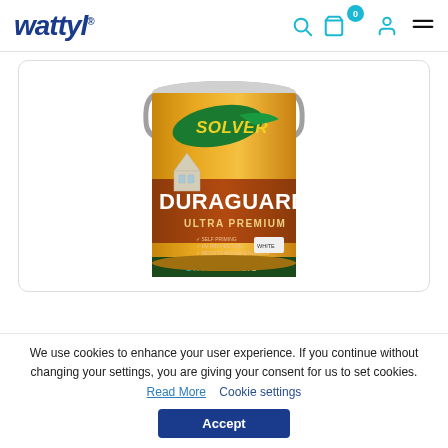wattyl
[Figure (photo): Solver Duraguard Ultra Premium Satin Acrylic paint can in gold/orange with green Solver logo, showing a house illustration. White color variant. 15 year warranty badge.]
We use cookies to enhance your user experience. If you continue without changing your settings, you are giving your consent for us to set cookies. Read More   Cookie settings
Accept